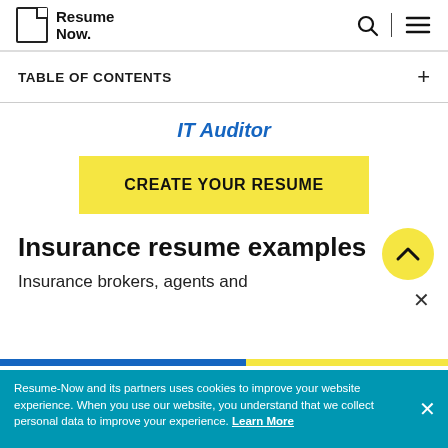Resume Now.
TABLE OF CONTENTS
IT Auditor
CREATE YOUR RESUME
Insurance resume examples
Insurance brokers, agents and
Resume-Now and its partners uses cookies to improve your website experience. When you use our website, you understand that we collect personal data to improve your experience. Learn More